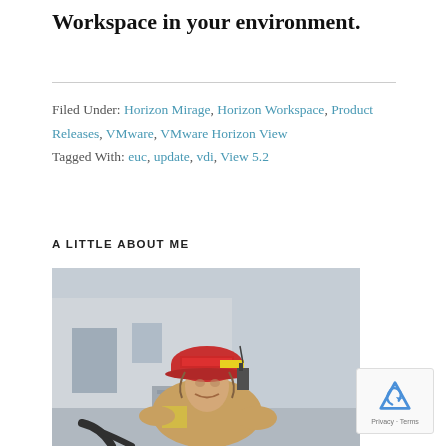Workspace in your environment.
Filed Under: Horizon Mirage, Horizon Workspace, Product Releases, VMware, VMware Horizon View
Tagged With: euc, update, vdi, View 5.2
A LITTLE ABOUT ME
[Figure (photo): A firefighter in full gear including a red helmet and turnout jacket, smiling, photographed outdoors near a building.]